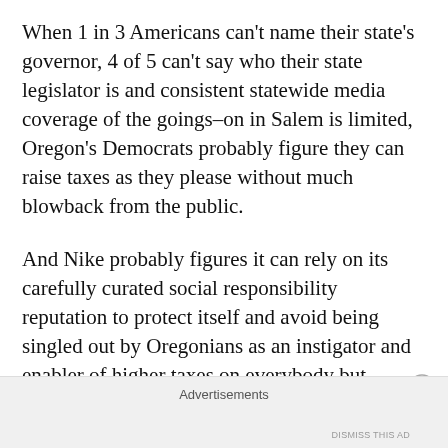When 1 in 3 Americans can't name their state's governor, 4 of 5 can't say who their state legislator is and consistent statewide media coverage of the goings–on in Salem is limited,  Oregon's Democrats probably figure they can raise taxes as they please without much blowback from the public.
And Nike probably figures it can rely on its carefully curated social responsibility reputation to protect itself and avoid being singled out by Oregonians as an instigator and enabler of higher taxes on everybody but
Advertisements